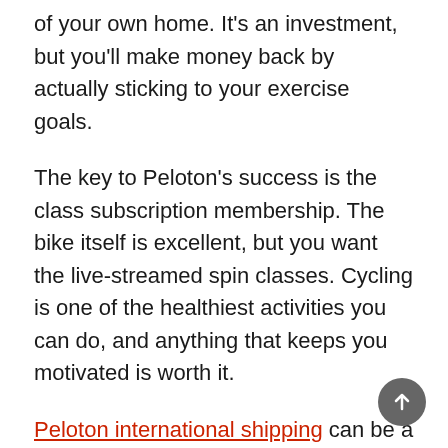of your own home. It's an investment, but you'll make money back by actually sticking to your exercise goals.
The key to Peloton's success is the class subscription membership. The bike itself is excellent, but you want the live-streamed spin classes. Cycling is one of the healthiest activities you can do, and anything that keeps you motivated is worth it.
Peloton international shipping can be a challenge because the bikes are big and heavy. If you're looking for ways to have the bike shipped internationally, read this guide.